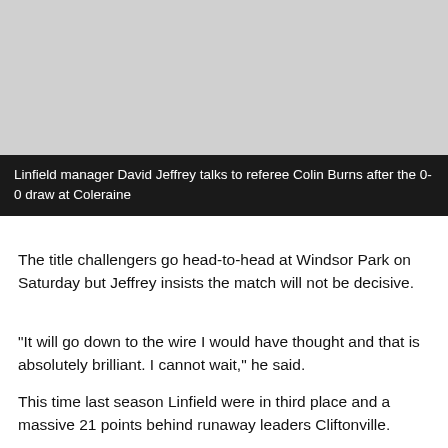[Figure (photo): Photo of Linfield manager David Jeffrey talking to referee Colin Burns after the 0-0 draw at Coleraine]
Linfield manager David Jeffrey talks to referee Colin Burns after the 0-0 draw at Coleraine
The title challengers go head-to-head at Windsor Park on Saturday but Jeffrey insists the match will not be decisive.
"It will go down to the wire I would have thought and that is absolutely brilliant. I cannot wait," he said.
This time last season Linfield were in third place and a massive 21 points behind runaway leaders Cliftonville.